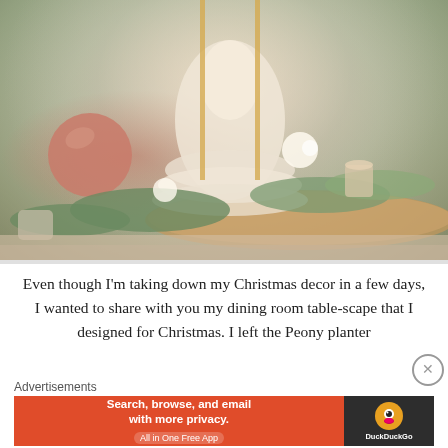[Figure (photo): Christmas table centerpiece with a white wooden angel/Santa figurine, pink ornament ball, greenery (cedar/pine), white flowers, and candle on a wood slice tray on a dining table]
Even though I'm taking down my Christmas decor in a few days, I wanted to share with you my dining room table-scape that I designed for Christmas. I left the Peony planter
Advertisements
[Figure (screenshot): DuckDuckGo advertisement banner: 'Search, browse, and email with more privacy. All in One Free App' with DuckDuckGo logo on dark background]